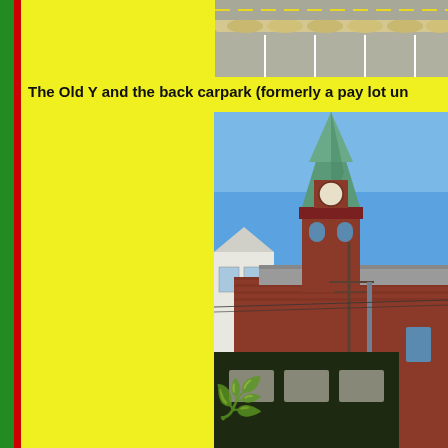[Figure (photo): Top photo showing a parking lot with white parking lines and sandbags or barriers along the edge, viewed from above]
The Old Y and the back carpark (formerly a pay lot un
[Figure (photo): Photo of a historic red brick building covered in ivy/vines, with a green copper steeple/spire rising above it against a clear blue sky. A utility pole is visible. A white building is partially visible to the left.]